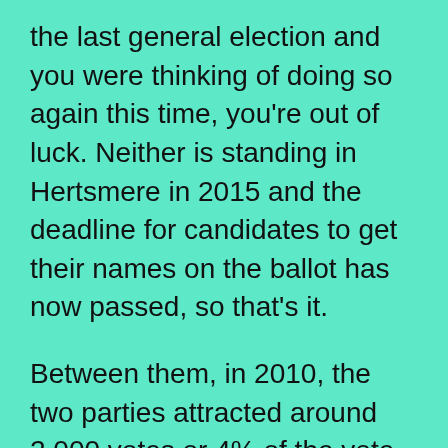the last general election and you were thinking of doing so again this time, you're out of luck. Neither is standing in Hertsmere in 2015 and the deadline for candidates to get their names on the ballot has now passed, so that's it.

Between them, in 2010, the two parties attracted around 2,000 votes or 4% of the vote. According to Buzzfeed “almost Everyone In England And Wales Will Be Able To Vote For The Green Party”. The Greens are putting up candidates in nearly 95% of UK seats (535 out of 573) and around 40% of their candidates are women, the highest proportion for any